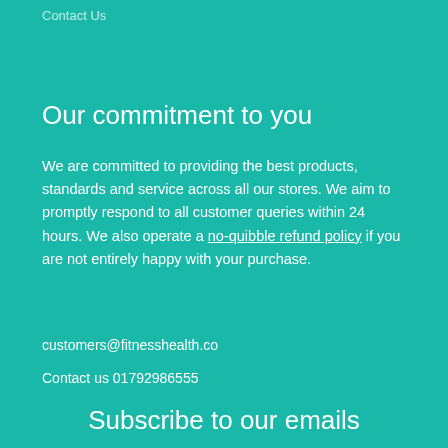Contact Us
Our commitment to you
We are committed to providing the best products, standards and service across all our stores. We aim to promptly respond to all customer queries within 24 hours. We also operate a no-quibble refund policy if you are not entirely happy with your purchase.
customers@fitnesshealth.co
Contact us 01792986555
Subscribe to our emails